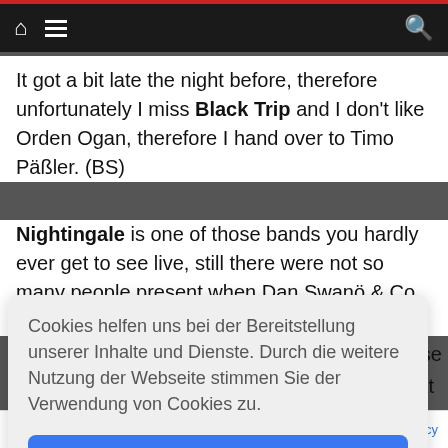Navigation bar with home, menu, and search icons
It got a bit late the night before, therefore unfortunately I miss Black Trip and I don't like Orden Ogan, therefore I hand over to Timo Päßler. (BS)
Nightingale is one of those bands you hardly ever get to see live, still there were not so many people present when Dan Swanö & Co begin their [obscured] use
at
Cookies helfen uns bei der Bereitstellung unserer Inhalte und Dienste. Durch die weitere Nutzung der Webseite stimmen Sie der Verwendung von Cookies zu.
Okay!
entertainer quality...   Privacy & Cookies Policy